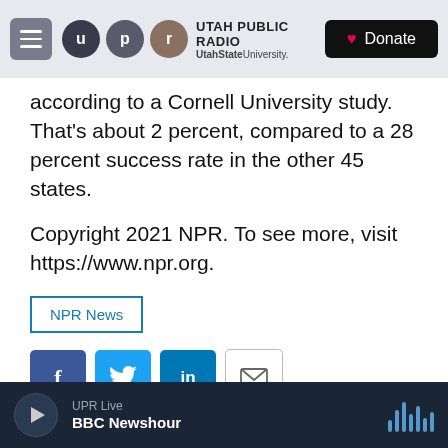Utah Public Radio — UtahStateUniversity. | Donate
according to a Cornell University study. That's about 2 percent, compared to a 28 percent success rate in the other 45 states.
Copyright 2021 NPR. To see more, visit https://www.npr.org.
NPR News
[Figure (other): Social share buttons: Facebook, Twitter, LinkedIn, Email]
[Figure (photo): Photo of Nina Totenberg]
Nina Totenberg
UPR Live — BBC Newshour